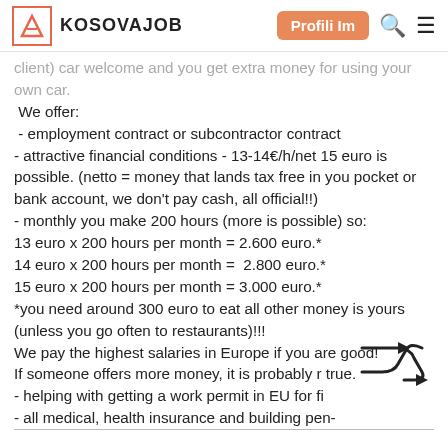KOSOVAJOB | Profili Im
client) car welcome and you get extra money for using your own car.
 We offer:
 - employment contract or subcontractor contract
- attractive financial conditions - 13-14€/h/net 15 euro is possible. (netto = money that lands tax free in you pocket or bank account, we don't pay cash, all official!!)
- monthly you make 200 hours (more is possible) so:
13 euro x 200 hours per month = 2.600 euro.*
14 euro x 200 hours per month =  2.800 euro.*
15 euro x 200 hours per month = 3.000 euro.*
*you need around 300 euro to eat all other money is yours (unless you go often to restaurants)!!!
We pay the highest salaries in Europe if you are good!
If someone offers more money, it is probably r true.
- helping with getting a work permit in EU for fi
- all medical, health insurance and building pen-